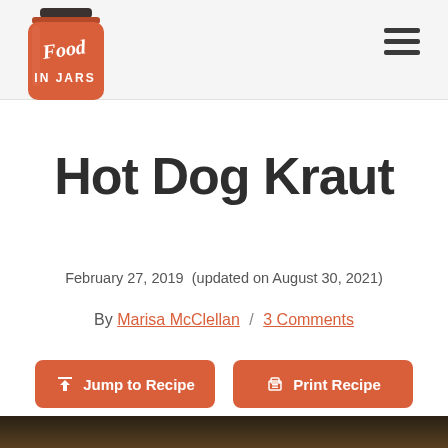Food in Jars — navigation header with logo and hamburger menu
Hot Dog Kraut
February 27, 2019  (updated on August 30, 2021)
By Marisa McClellan / 3 Comments
Jump to Recipe | Print Recipe
[Figure (photo): Dark blurred background photo at bottom of page]